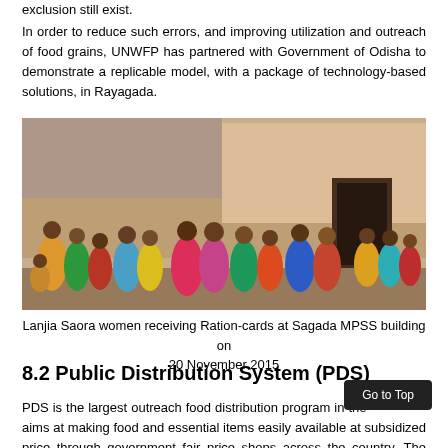exclusion still exist.
In order to reduce such errors, and improving utilization and outreach of food grains, UNWFP has partnered with Government of Odisha to demonstrate a replicable model, with a package of technology-based solutions, in Rayagada.
[Figure (photo): Lanjia Saora women and community members receiving Ration-cards at Sagada MPSS building, showing a crowd of people gathered outside a building on 20 November 2015]
Lanjia Saora women receiving Ration-cards at Sagada MPSS building on 20 November 2015
8.2 Public Distribution System (PDS)
PDS is the largest outreach food distribution program in the country. It aims at making food and essential items easily available at subsidized price through government fair price shops across the country. The PDS has